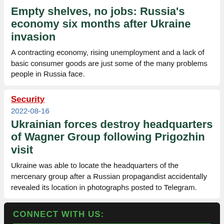Empty shelves, no jobs: Russia's economy six months after Ukraine invasion
A contracting economy, rising unemployment and a lack of basic consumer goods are just some of the many problems people in Russia face.
Security
2022-08-16
Ukrainian forces destroy headquarters of Wagner Group following Prigozhin visit
Ukraine was able to locate the headquarters of the mercenary group after a Russian propagandist accidentally revealed its location in photographs posted to Telegram.
CONNECT WITH US: